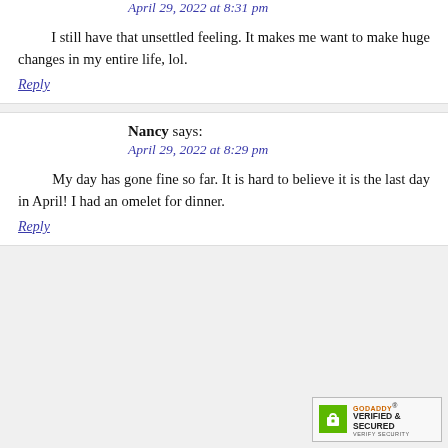April 29, 2022 at 8:31 pm
I still have that unsettled feeling. It makes me want to make huge changes in my entire life, lol.
Reply
Nancy says:
April 29, 2022 at 8:29 pm
My day has gone fine so far. It is hard to believe it is the last day in April! I had an omelet for dinner.
Reply
[Figure (logo): GoDaddy Verified & Secured badge with lock icon]